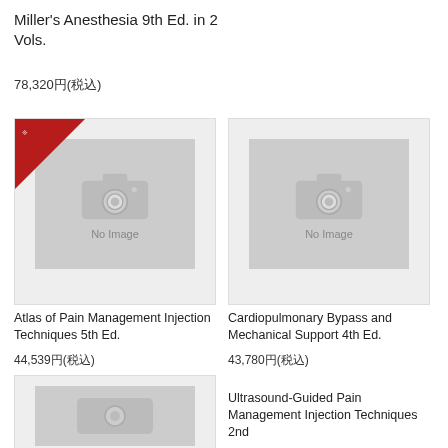Miller's Anesthesia 9th Ed. in 2 Vols.
78,320円(税込)
[Figure (photo): No Image placeholder with camera icon and red corner badge for Atlas of Pain Management Injection Techniques 5th Ed.]
[Figure (photo): No Image placeholder with camera icon for Cardiopulmonary Bypass and Mechanical Support 4th Ed.]
Atlas of Pain Management Injection Techniques 5th Ed.
44,539円(税込)
Cardiopulmonary Bypass and Mechanical Support 4th Ed.
43,780円(税込)
[Figure (photo): No Image placeholder with camera icon (partially visible, bottom of page)]
Ultrasound-Guided Pain Management Injection Techniques 2nd